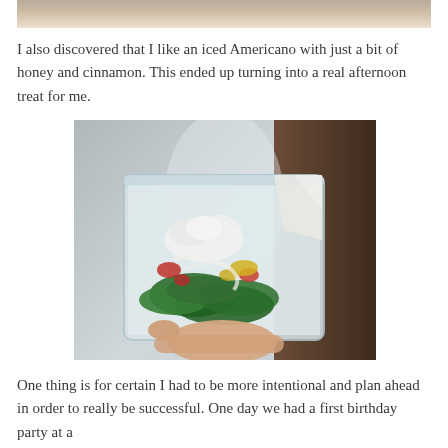[Figure (photo): Partial view of a food photo at the top of the page, cropped — shows what appears to be a light-colored background with food items.]
I also discovered that I like an iced Americano with just a bit of honey and cinnamon. This ended up turning into a real afternoon treat for me.
[Figure (photo): A hand holding a clear plastic container filled with a salad — green spinach leaves, colorful vegetables, and white dressing on top, photographed against a metallic and dark wood background.]
One thing is for certain I had to be more intentional and plan ahead in order to really be successful. One day we had a first birthday party at a